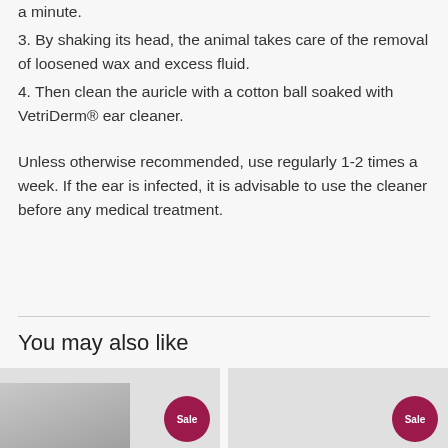a minute.
3. By shaking its head, the animal takes care of the removal of loosened wax and excess fluid.
4. Then clean the auricle with a cotton ball soaked with VetriDerm® ear cleaner.
Unless otherwise recommended, use regularly 1-2 times a week. If the ear is infected, it is advisable to use the cleaner before any medical treatment.
You may also like
[Figure (photo): Two product thumbnails with 'Sale' badges on a light gray background]